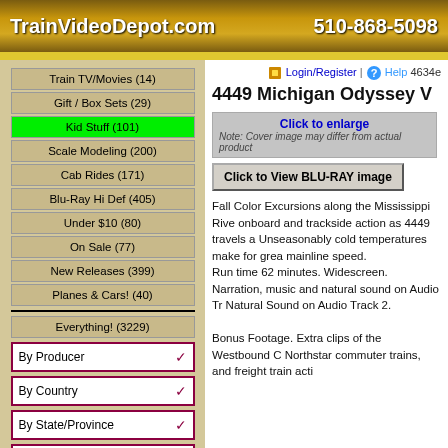TrainVideoDepot.com  510-868-5098
Train TV/Movies (14)
Gift / Box Sets (29)
Kid Stuff (101)
Scale Modeling (200)
Cab Rides (171)
Blu-Ray Hi Def (405)
Under $10 (80)
On Sale (77)
New Releases (399)
Planes & Cars! (40)
Everything! (3229)
By Producer
By Country
By State/Province
By Railroad
Title and Description Search
4449 Michigan Odyssey V
Click to enlarge
Note: Cover image may differ from actual product
Click to View BLU-RAY image
Fall Color Excursions along the Mississippi Rive onboard and trackside action as 4449 travels a Unseasonably cold temperatures make for grea mainline speed.
Run time 62 minutes. Widescreen.
Narration, music and natural sound on Audio Tr Natural Sound on Audio Track 2.

Bonus Footage. Extra clips of the Westbound C Northstar commuter trains, and freight train acti